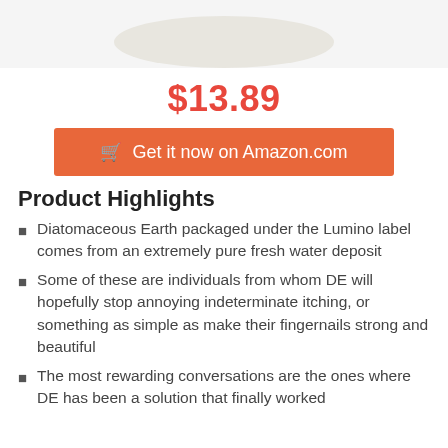[Figure (photo): Product image of a white round container, partially visible at top of page]
$13.89
Get it now on Amazon.com
Product Highlights
Diatomaceous Earth packaged under the Lumino label comes from an extremely pure fresh water deposit
Some of these are individuals from whom DE will hopefully stop annoying indeterminate itching, or something as simple as make their fingernails strong and beautiful
The most rewarding conversations are the ones where DE has been a solution that finally worked